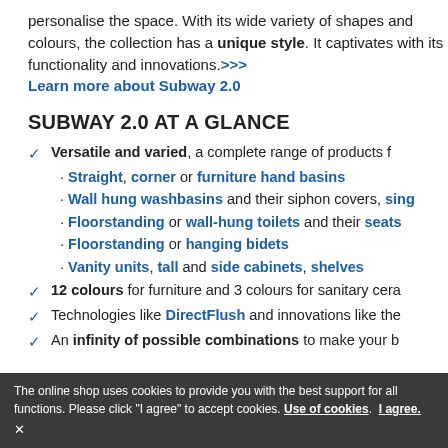personalise the space. With its wide variety of shapes and colours, the collection has a unique style. It captivates with its functionality and innovations.>>> Learn more about Subway 2.0
SUBWAY 2.0 AT A GLANCE
Versatile and varied, a complete range of products f…
· Straight, corner or furniture hand basins
· Wall hung washbasins and their siphon covers, sing…
· Floorstanding or wall-hung toilets and their seats
· Floorstanding or hanging bidets
· Vanity units, tall and side cabinets, shelves
12 colours for furniture and 3 colours for sanitary cera…
Technologies like DirectFlush and innovations like the…
An infinity of possible combinations to make your b…
The online shop uses cookies to provide you with the best support for all functions. Please click "I agree" to accept cookies. Use of cookies. I agree. ×